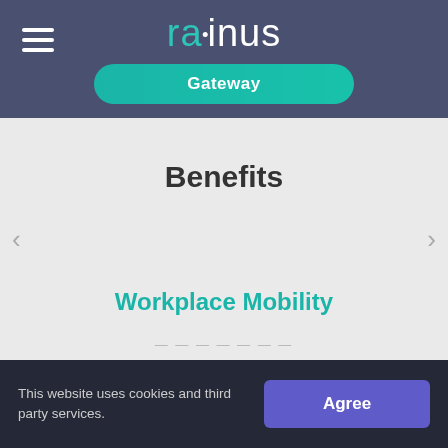[Figure (logo): Rainus logo with teal 'ra' and white 'inus' text, with a dot above the 'i', on a dark slate-blue background]
[Figure (screenshot): Teal rounded rectangle button labeled 'Gateway']
Benefits
[Figure (screenshot): Left carousel arrow '<' in gray]
[Figure (screenshot): Right carousel arrow '>' in gray]
Workplace Mobility
This website uses cookies and third party services.
[Figure (screenshot): Purple 'Agree' button for cookie consent]